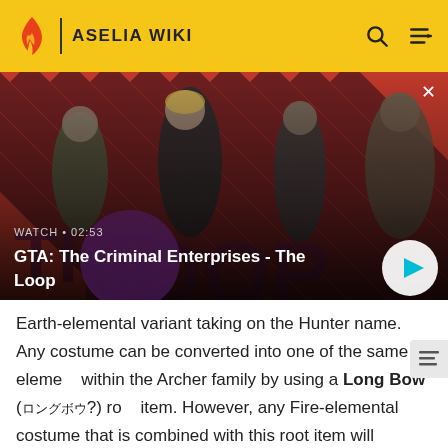ASELIA WIKI
[Figure (screenshot): GTA: The Criminal Enterprises - The Loop video thumbnail with four characters on a red diagonal-striped background, showing watch time 02:53 and a play button]
WATCH • 02:53
GTA: The Criminal Enterprises - The Loop
Earth-elemental variant taking on the Hunter name. Any costume can be converted into one of the same element within the Archer family by using a Long Bow (ロングボウ?) root item. However, any Fire-elemental costume that is combined with this root item will convert it into a non-elemental Archer, due to the lack of a Fire-based Archer